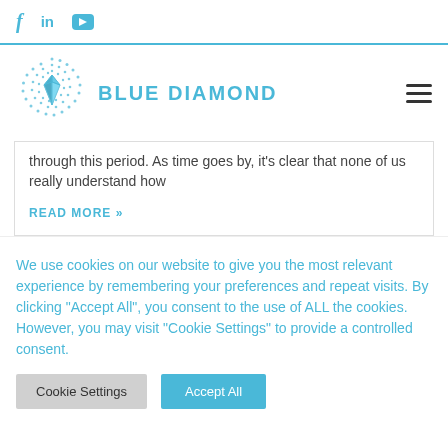f  in  ▶
[Figure (logo): Blue Diamond logo: dotted circle with diamond shape inside, in teal/blue color]
BLUE DIAMOND
through this period. As time goes by, it's clear that none of us really understand how
READ MORE »
We use cookies on our website to give you the most relevant experience by remembering your preferences and repeat visits. By clicking "Accept All", you consent to the use of ALL the cookies. However, you may visit "Cookie Settings" to provide a controlled consent.
Cookie Settings   Accept All